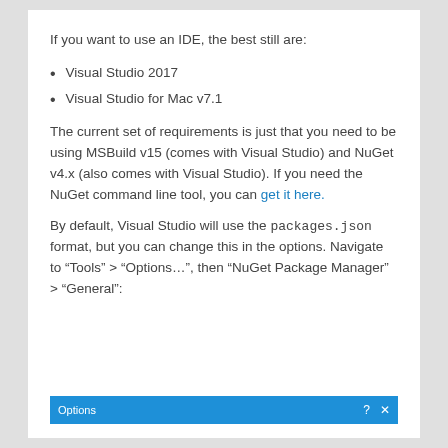If you want to use an IDE, the best still are:
Visual Studio 2017
Visual Studio for Mac v7.1
The current set of requirements is just that you need to be using MSBuild v15 (comes with Visual Studio) and NuGet v4.x (also comes with Visual Studio). If you need the NuGet command line tool, you can get it here.
By default, Visual Studio will use the packages.json format, but you can change this in the options. Navigate to “Tools” > “Options…”, then “NuGet Package Manager” > “General”:
[Figure (screenshot): Options dialog window with blue title bar showing 'Options' text and window control icons]